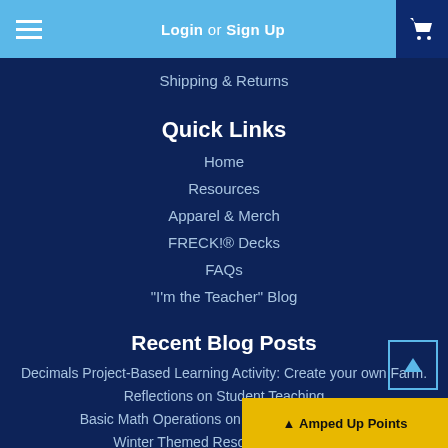Login or Sign Up
Shipping & Returns
Quick Links
Home
Resources
Apparel & Merch
FRECK!® Decks
FAQs
"I'm the Teacher" Blog
Recent Blog Posts
Decimals Project-Based Learning Activity: Create your own Farm.
Reflections on Student Teaching
Basic Math Operations on Amped Up Learning
Winter Themed Resources on Am...
Amped Up Points